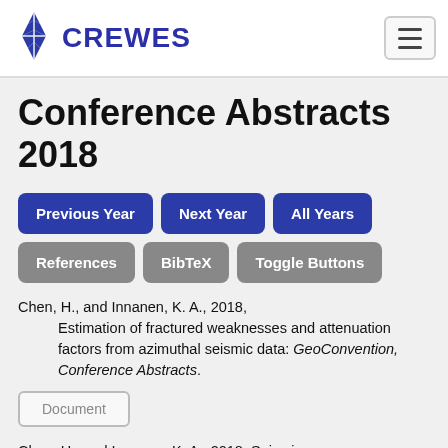CREWES
Conference Abstracts 2018
Previous Year
Next Year
All Years
References
BibTeX
Toggle Buttons
Chen, H., and Innanen, K. A., 2018, Estimation of fractured weaknesses and attenuation factors from azimuthal seismic data: GeoConvention, Conference Abstracts.
Document
Chen, H., and Innanen, K. A., 2018, Seismic